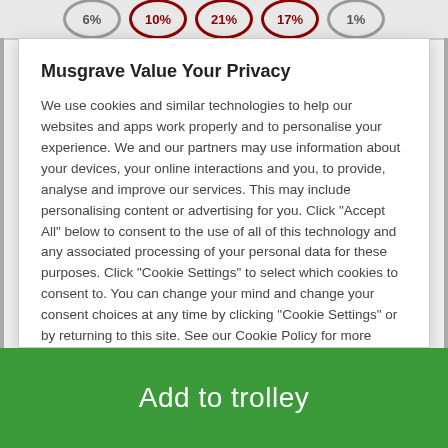[Figure (other): Top bar with percentage badges: 6% (grey), 10% (red), 21% (red), 17% (red), 1% (grey)]
Musgrave Value Your Privacy
We use cookies and similar technologies to help our websites and apps work properly and to personalise your experience. We and our partners may use information about your devices, your online interactions and you, to provide, analyse and improve our services. This may include personalising content or advertising for you. Click "Accept All" below to consent to the use of all of this technology and any associated processing of your personal data for these purposes. Click "Cookie Settings" to select which cookies to consent to. You can change your mind and change your consent choices at any time by clicking "Cookie Settings" or by returning to this site. See our Cookie Policy for more information  Cookie Policy
Reject All Cookies
Accept All Cookies
Cookies Settings
Add to trolley